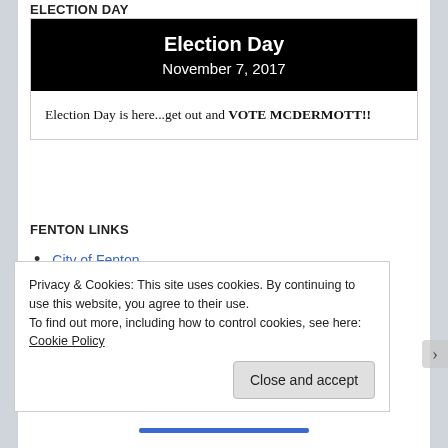ELECTION DAY
[Figure (screenshot): Election Day card with black header showing 'Election Day' title and 'November 7, 2017' date, and white body with text 'Election Day is here...get out and VOTE MCDERMOTT!!']
FENTON LINKS
City of Fenton
Fenton Financial Performance
Privacy & Cookies: This site uses cookies. By continuing to use this website, you agree to their use. To find out more, including how to control cookies, see here: Cookie Policy
Close and accept